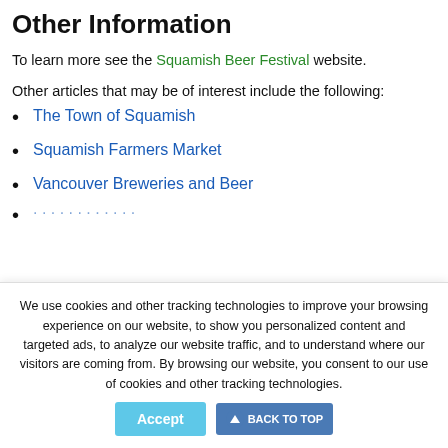Other Information
To learn more see the Squamish Beer Festival website.
Other articles that may be of interest include the following:
The Town of Squamish
Squamish Farmers Market
Vancouver Breweries and Beer
We use cookies and other tracking technologies to improve your browsing experience on our website, to show you personalized content and targeted ads, to analyze our website traffic, and to understand where our visitors are coming from. By browsing our website, you consent to our use of cookies and other tracking technologies.